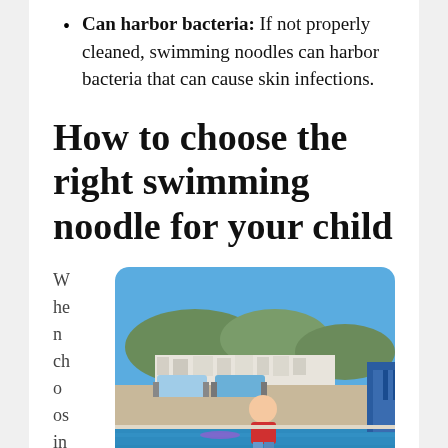Can harbor bacteria: If not properly cleaned, swimming noodles can harbor bacteria that can cause skin infections.
How to choose the right swimming noodle for your child
When choosing a
[Figure (photo): A young child in a red shirt sitting at the edge of a swimming pool with lounge chairs and mountains in the background]